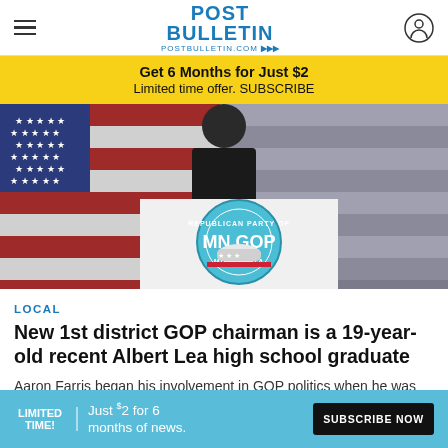POST BULLETIN — postbulletin.com
Get 6 Months for Just $2 — Limited time offer. SUBSCRIBE
[Figure (photo): Person in dark suit standing at a podium with a Minnesota GOP (Republican Party of Minnesota) logo, in front of an American flag backdrop.]
LOCAL
New 1st district GOP chairman is a 19-year-old recent Albert Lea high school graduate
Aaron Farris began his involvement in GOP politics when he was 14.
April 29, 2022 03:14 PM
LIMITED TIME! Just $2 for 6 months of news. SUBSCRIBE NOW